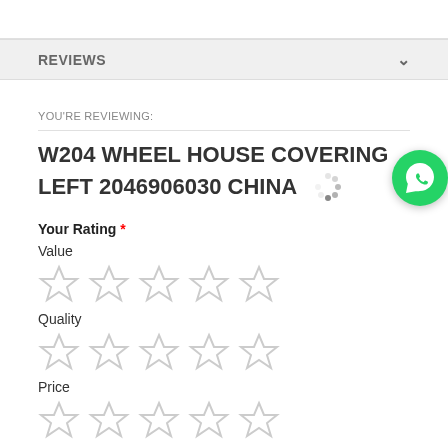REVIEWS
YOU'RE REVIEWING:
W204 WHEEL HOUSE COVERING LEFT 2046906030 CHINA
Your Rating *
Value
[Figure (other): Five empty star rating icons for Value]
Quality
[Figure (other): Five empty star rating icons for Quality]
Price
[Figure (other): Five empty star rating icons for Price (partially visible)]